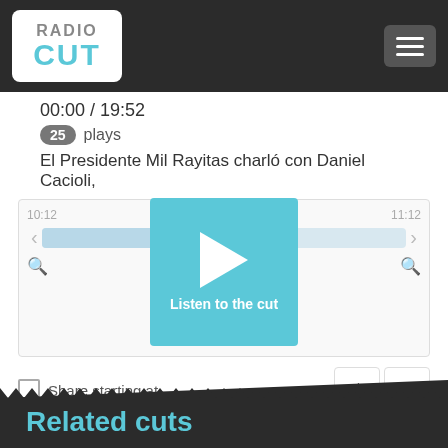RadioCut
00:00 / 19:52
25 plays
El Presidente Mil Rayitas charló con Daniel Cacioli,
[Figure (screenshot): Audio player widget with play button overlay labeled 'Listen to the cut', time markers 10:12 and 11:12, progress bar, zoom icons, back button, and more options (...)]
Share starting at...
Tags: am 770  ascenso  lomas de zamora  los andes
Related cuts